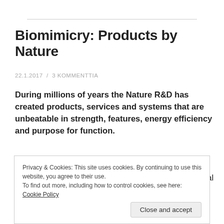Biomimicry: Products by Nature
22.1.2017  /  3 KOMMENTTIA
During millions of years the Nature R&D has created products, services and systems that are unbeatable in strength, features, energy efficiency and purpose for function.
They meet the technical, individual, social and survival
Privacy & Cookies: This site uses cookies. By continuing to use this website, you agree to their use.
To find out more, including how to control cookies, see here: Cookie Policy
Close and accept